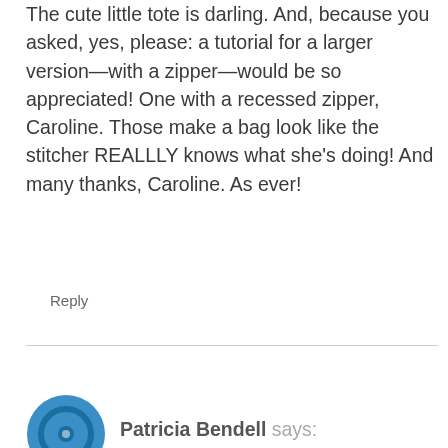The cute little tote is darling. And, because you asked, yes, please: a tutorial for a larger version—with a zipper—would be so appreciated! One with a recessed zipper, Caroline. Those make a bag look like the stitcher REALLLY knows what she's doing! And many thanks, Caroline. As ever!
Reply
Patricia Bendell says: